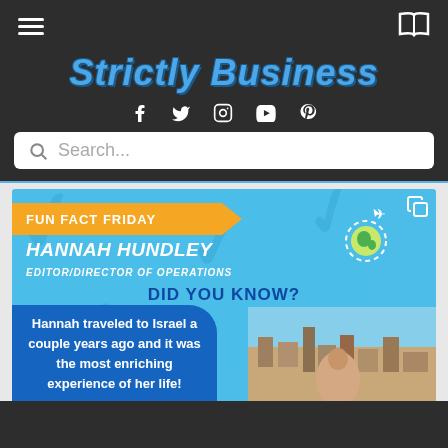Strictly Business
f  t  Instagram  YouTube  Pinterest
Search...
[Figure (infographic): Fun Fact Friday infographic featuring Hannah Hundley, Editor/Director of Operations. Blue background with watermark pattern, orange arrow banner reading FUN FACT FRIDAY, name HANNAH HUNDLEY in italic white, title EDITOR/DIRECTOR OF OPERATIONS, globe icon with airplane, DID YOU KNOW? text in dark blue, a photo of a woman with a city/landscape behind her, and a blue diagonal box with white text: Hannah traveled to Israel a couple years ago and it was the most enriching experience of her life!]